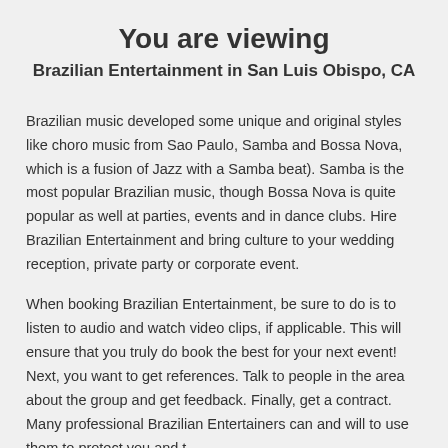You are viewing
Brazilian Entertainment in San Luis Obispo, CA
Brazilian music developed some unique and original styles like choro music from Sao Paulo, Samba and Bossa Nova, which is a fusion of Jazz with a Samba beat). Samba is the most popular Brazilian music, though Bossa Nova is quite popular as well at parties, events and in dance clubs. Hire Brazilian Entertainment and bring culture to your wedding reception, private party or corporate event.
When booking Brazilian Entertainment, be sure to do is to listen to audio and watch video clips, if applicable. This will ensure that you truly do book the best for your next event! Next, you want to get references. Talk to people in the area about the group and get feedback. Finally, get a contract. Many professional Brazilian Entertainers can and will to use them to protect you and t...